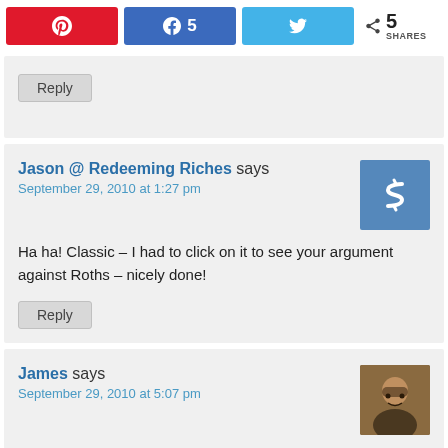[Figure (other): Social share bar with Pinterest (red), Facebook (blue, 5 shares), Twitter (light blue) buttons and a share count of 5 SHARES]
Reply
Jason @ Redeeming Riches says
September 29, 2010 at 1:27 pm
Ha ha! Classic – I had to click on it to see your argument against Roths – nicely done!
Reply
James says
September 29, 2010 at 5:07 pm